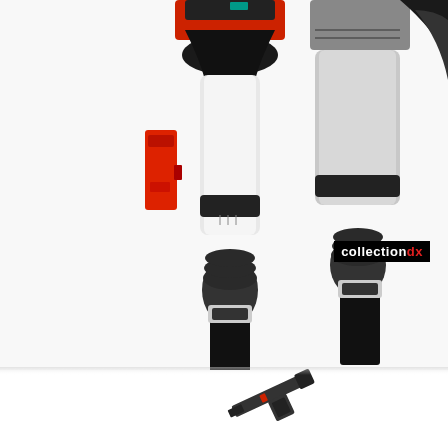[Figure (photo): Close-up photograph of a robot action figure's legs. The figure has white and black lower legs with red accents, black ribbed ankle joints, and silver/black knee guards. A red accessory/weapon piece is attached to the left side. The bottom portion shows a separate small black accessory piece on a white background. A CollectionDX watermark logo appears in the lower right area of the upper photo section.]